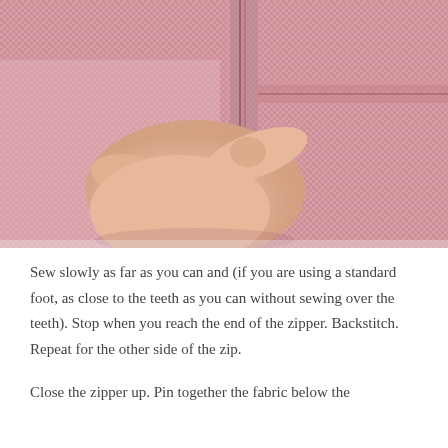[Figure (photo): Close-up photo of a hand pressing down on pink/red woven fabric near a zipper seam, showing the stitching along the zipper tape]
Sew slowly as far as you can and (if you are using a standard foot, as close to the teeth as you can without sewing over the teeth). Stop when you reach the end of the zipper. Backstitch. Repeat for the other side of the zip.
Close the zipper up. Pin together the fabric below the